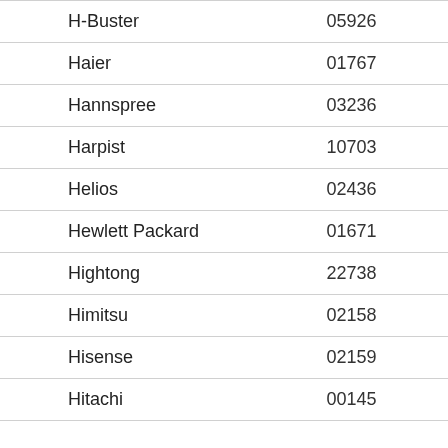| H-Buster | 05926 |
| Haier | 01767 |
| Hannspree | 03236 |
| Harpist | 10703 |
| Helios | 02436 |
| Hewlett Packard | 01671 |
| Hightong | 22738 |
| Himitsu | 02158 |
| Hisense | 02159 |
| Hitachi | 00145 |